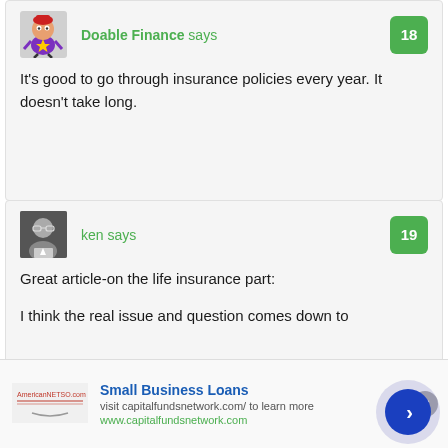[Figure (illustration): Cartoon character avatar for Doable Finance commenter]
Doable Finance says
18
It's good to go through insurance policies every year. It doesn't take long.
[Figure (photo): Photo of commenter 'ken' — older man with glasses]
ken says
19
Great article-on the life insurance part:
I think the real issue and question comes down to
Small Business Loans
visit capitalfundsnetwork.com/ to learn more
www.capitalfundsnetwork.com